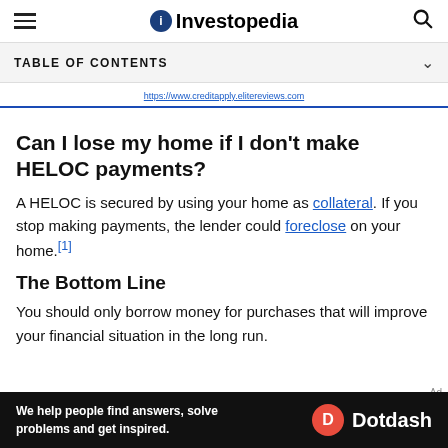Investopedia
TABLE OF CONTENTS
Can I lose my home if I don't make HELOC payments?
A HELOC is secured by using your home as collateral. If you stop making payments, the lender could foreclose on your home.[1]
The Bottom Line
You should only borrow money for purchases that will improve your financial situation in the long run.
[Figure (screenshot): Dotdash advertisement banner: 'We help people find answers, solve problems and get inspired. Dotdash']